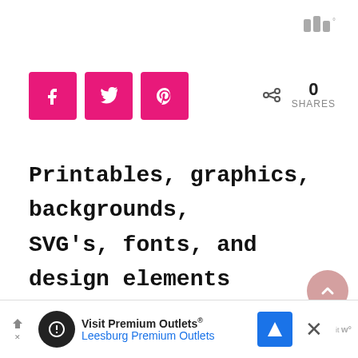[Figure (logo): Small grey logo/icon at top right]
[Figure (infographic): Three pink social share buttons: Facebook (f), Twitter (bird), Pinterest (p)]
0
SHARES
Printables, graphics, backgrounds, SVG's, fonts, and design elements given on this site are for personal use only. You may not alter them or redistribute them for free or monetary gain without written
[Figure (infographic): Pink circular scroll-to-top button with upward chevron]
[Figure (infographic): Advertisement bar: Visit Premium Outlets® Leesburg Premium Outlets with navigation icon and close button]